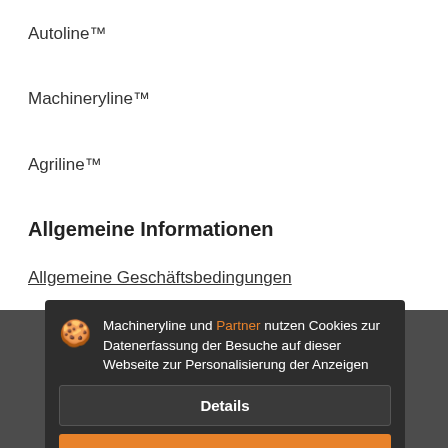Autoline™
Machineryline™
Agriline™
Allgemeine Informationen
Allgemeine Geschäftsbedingungen
Datenschutzerklärung
Sitemap
Bewerbung
Anzeigenschaltung auf Machineryline
Machineryline und Partner nutzen Cookies zur Datenerfassung der Besuche auf dieser Webseite zur Personalisierung der Anzeigen
Details
Akzeptieren und schließen